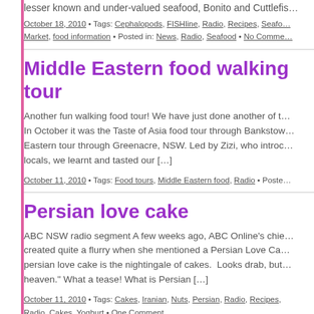lesser known and under-valued seafood, Bonito and Cuttlefish…
October 18, 2010 • Tags: Cephalopods, FISHline, Radio, Recipes, Seafood Market, food information • Posted in: News, Radio, Seafood • No Comments
Middle Eastern food walking tour
Another fun walking food tour! We have just done another of t… In October it was the Taste of Asia food tour through Banksto… Eastern tour through Greenacre, NSW. Led by Zizi, who introc… locals, we learnt and tasted our […]
October 11, 2010 • Tags: Food tours, Middle Eastern food, Radio • Poste…
Persian love cake
ABC NSW radio segment A few weeks ago, ABC Online's chie… created quite a flurry when she mentioned a Persian Love Ca… persian love cake is the nightingale of cakes. Looks drab, but… heaven." What a tease! What is Persian […]
October 11, 2010 • Tags: Cakes, Iranian, Nuts, Persian, Radio, Recipes, Radio, Cakes, Yoghurt • One Comment